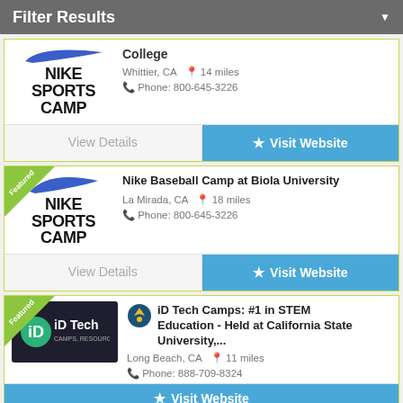Filter Results
College
Whittier, CA  14 miles
Phone: 800-645-3226
View Details | Visit Website
Nike Baseball Camp at Biola University
La Mirada, CA  18 miles
Phone: 800-645-3226
View Details | Visit Website
iD Tech Camps: #1 in STEM Education - Held at California State University,...
Long Beach, CA  11 miles
Phone: 888-709-8324